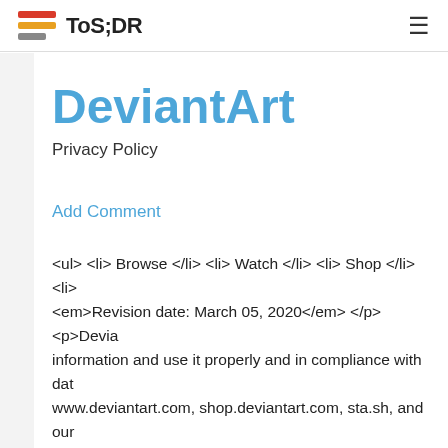ToS;DR
DeviantArt
Privacy Policy
Add Comment
<ul> <li> Browse </li> <li> Watch </li> <li> Shop </li> <li> <em>Revision date: March 05, 2020</em> </p> <p>Devi information and use it properly and in compliance with dat www.deviantart.com, shop.deviantart.com, sta.sh, and our Sites</strong> or "<strong>Sites</strong>"). This Privacy